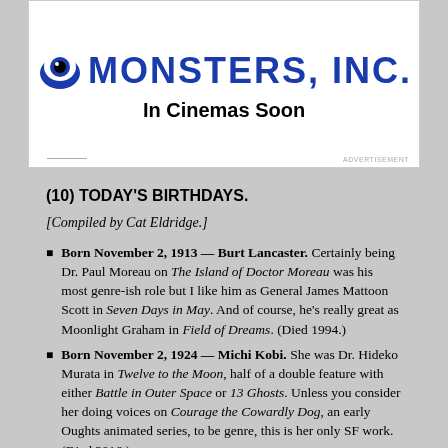[Figure (logo): Monsters, Inc. movie advertisement. Blue bold text reading 'MONSTERS, INC.' with monster eye logo, subtitle 'In Cinemas Soon' in black bold text.]
(10) TODAY'S BIRTHDAYS.
[Compiled by Cat Eldridge.]
Born November 2, 1913 — Burt Lancaster. Certainly being Dr. Paul Moreau on The Island of Doctor Moreau was his most genre-ish role but I like him as General James Mattoon Scott in Seven Days in May. And of course, he's really great as Moonlight Graham in Field of Dreams. (Died 1994.)
Born November 2, 1924 — Michi Kobi. She was Dr. Hideko Murata in Twelve to the Moon, half of a double feature with either Battle in Outer Space or 13 Ghosts. Unless you consider her doing voices on Courage the Cowardly Dog, an early Oughts animated series, to be genre, this is her only SF work. (Died 2016.)